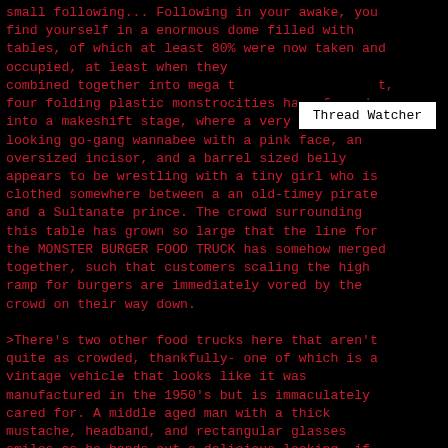small following... Following in your awake, you find yourself in a enormous dome filled with tables, of which at least 80% were now taken and occupied, at least when they weren't being combined together into mega t... t, four folding plastic monstrocities have formed into a makeshift stage, where a very drunk looking go-gang wannabee with a pink face, an oversized incisor, and a barrel sized belly appears to be wrestling with a tiny girl who is clothed somewhere between a an old-timey pirate and a Sultanate prince. The crowd surrounding this table has grown so large that the line for the MONSTER BURGER FOOD TRUCK has somehow merged together, such that customers scaling the high ramp for burgers are immediately vored by the crowd on their way down.

>There's two other food trucks here that aren't quite as crowded, thankfully- one of which is a vintage vehicle that looks like it was manufactured in the 1950's but is immaculately cared for. A middle aged man with a thick mustache, headband, and rectangular glasses smiles as he hands out a delicious looking, if slightly plain, sandwich that consists of a white patty of some kind, lettuce, tomato, and
Thread Watcher